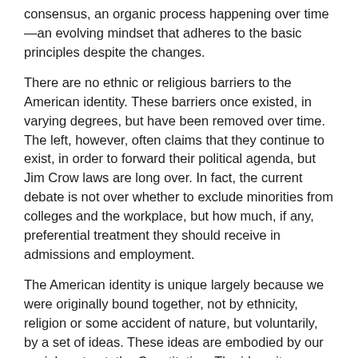consensus, an organic process happening over time—an evolving mindset that adheres to the basic principles despite the changes.
There are no ethnic or religious barriers to the American identity. These barriers once existed, in varying degrees, but have been removed over time. The left, however, often claims that they continue to exist, in order to forward their political agenda, but Jim Crow laws are long over. In fact, the current debate is not over whether to exclude minorities from colleges and the workplace, but how much, if any, preferential treatment they should receive in admissions and employment.
The American identity is unique largely because we were originally bound together, not by ethnicity, religion or some accident of nature, but voluntarily, by a set of ideas. These ideas are embodied by our social contract, the Constitution. The ideas it espoused are further elaborated upon in the Declaration of Independence, The Federalist Papers, Thomas Paine's Common Sense, and other early documents. The ideas expressed in them, such as personal liberty and a respect for the rule of law, form the innermost core of our identity.